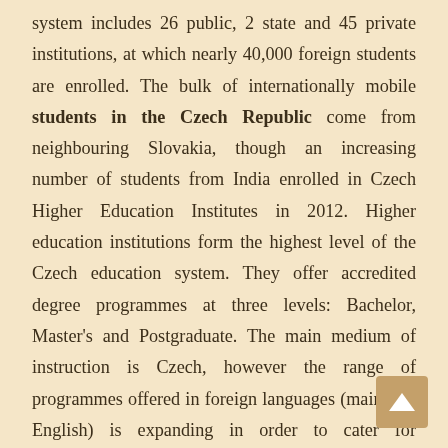system includes 26 public, 2 state and 45 private institutions, at which nearly 40,000 foreign students are enrolled. The bulk of internationally mobile students in the Czech Republic come from neighbouring Slovakia, though an increasing number of students from India enrolled in Czech Higher Education Institutes in 2012. Higher education institutions form the highest level of the Czech education system. They offer accredited degree programmes at three levels: Bachelor, Master's and Postgraduate. The main medium of instruction is Czech, however the range of programmes offered in foreign languages (mainly in English) is expanding in order to cater for international students. Generally post-graduate tuition fees at Czech public universities start at around 77,000 INR per semester.